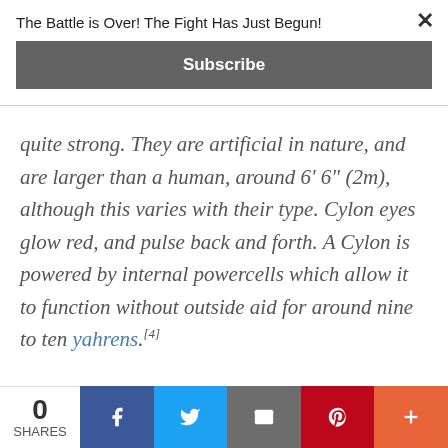The Battle is Over! The Fight Has Just Begun!
quite strong. They are artificial in nature, and are larger than a human, around 6' 6" (2m), although this varies with their type. Cylon eyes glow red, and pulse back and forth. A Cylon is powered by internal powercells which allow it to function without outside aid for around nine to ten yahrens.[4]
[Figure (photo): Dark partial image at the bottom of the page]
0 SHARES — social share buttons: Facebook, Twitter, Email, Pinterest, More